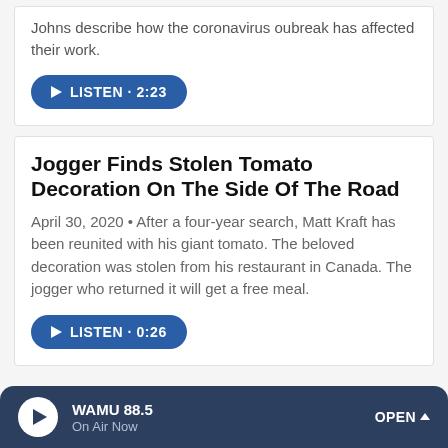Johns describe how the coronavirus oubreak has affected their work.
LISTEN · 2:23
Jogger Finds Stolen Tomato Decoration On The Side Of The Road
April 30, 2020 • After a four-year search, Matt Kraft has been reunited with his giant tomato. The beloved decoration was stolen from his restaurant in Canada. The jogger who returned it will get a free meal.
LISTEN · 0:26
© 2022 npr  help  contact  terms of use  privacy  text only
WAMU 88.5  On Air Now  OPEN